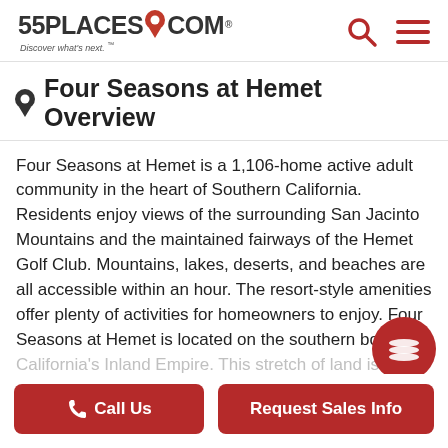55PLACES.COM Discover what's next.™
Four Seasons at Hemet Overview
Four Seasons at Hemet is a 1,106-home active adult community in the heart of Southern California. Residents enjoy views of the surrounding San Jacinto Mountains and the maintained fairways of the Hemet Golf Club. Mountains, lakes, deserts, and beaches are all accessible within an hour. The resort-style amenities offer plenty of activities for homeowners to enjoy. Four Seasons at Hemet is located on the southern border of California's Inland Empire. This stretch of land is renowned for its separation from the crowds of
Call Us
Request Sales Info